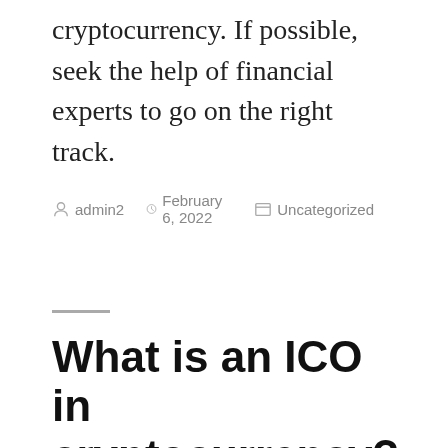cryptocurrency. If possible, seek the help of financial experts to go on the right track.
by admin2   February 6, 2022   Uncategorized
What is an ICO in cryptocurrency?